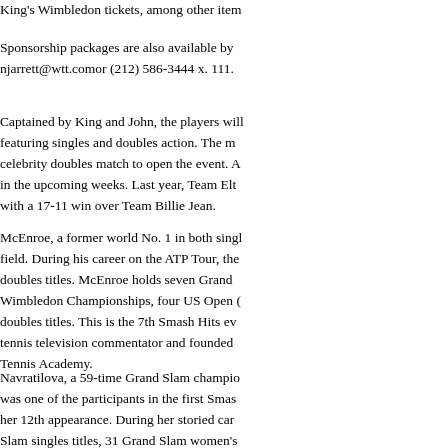King's Wimbledon tickets, among other item
Sponsorship packages are also available by njarrett@wtt.comor (212) 586-3444 x. 111.
Captained by King and John, the players will featuring singles and doubles action. The m celebrity doubles match to open the event. A in the upcoming weeks. Last year, Team Elt with a 17-11 win over Team Billie Jean.
McEnroe, a former world No. 1 in both singl field. During his career on the ATP Tour, the doubles titles. McEnroe holds seven Grand Wimbledon Championships, four US Open doubles titles. This is the 7th Smash Hits ev tennis television commentator and founded Tennis Academy.
Navratilova, a 59-time Grand Slam champio was one of the participants in the first Smas her 12th appearance. During her storied car Slam singles titles, 31 Grand Slam women's doubles titles. Navratilova holds 167 singles